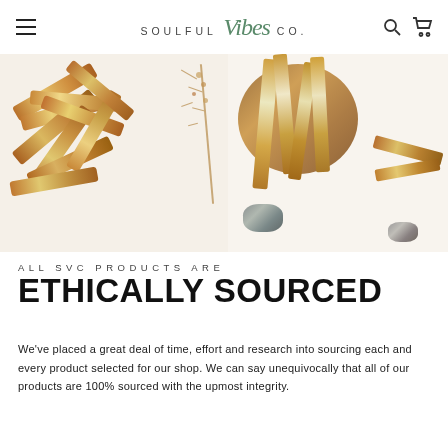SOULFUL Vibes CO. — navigation header with hamburger menu, search icon, cart icon
[Figure (photo): Two photos side by side of palo santo wood sticks. Left image shows a bundle of palo santo sticks with a dried plant sprig on a white background. Right image shows palo santo sticks arranged on a wooden bowl/plate with stones on white background.]
ALL SVC PRODUCTS ARE
ETHICALLY SOURCED
We've placed a great deal of time, effort and research into sourcing each and every product selected for our shop. We can say unequivocally that all of our products are 100% sourced with the upmost integrity.